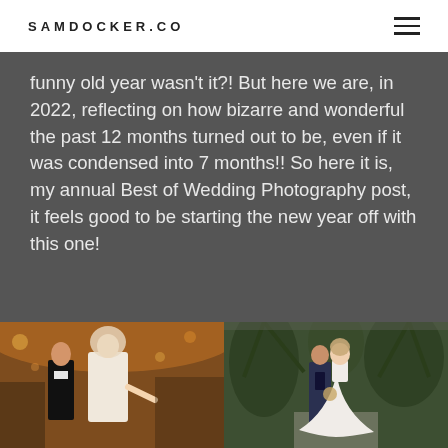SAMDOCKER.CO
funny old year wasn't it?! But here we are, in 2022, reflecting on how bizarre and wonderful the past 12 months turned out to be, even if it was condensed into 7 months!! So here it is, my annual Best of Wedding Photography post, it feels good to be starting the new year off with this one!
[Figure (photo): Two side-by-side wedding photos. Left: bride and groom at reception, bride smiling and pointing, groom in tuxedo, warm amber lighting in a tent venue. Right: bride and groom walking in a botanical garden with tropical plants, bride in a ball gown, groom in a navy suit.]